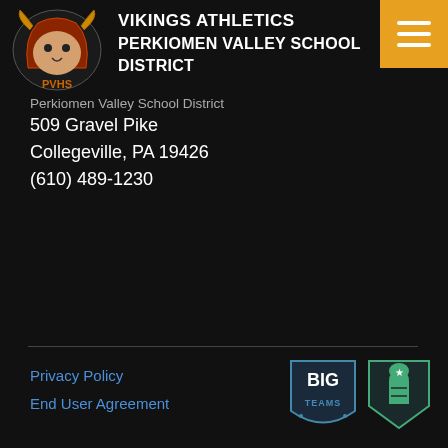[Figure (logo): Vikings athletics mascot logo - PVHS text with Viking warrior]
VIKINGS ATHLETICS
PERKIOMEN VALLEY SCHOOL DISTRICT
[Figure (other): Hamburger menu icon on orange background in top right corner]
Perkiomen Valley School District
509 Gravel Pike
Collegeville, PA 19426
(610) 489-1230
Privacy Policy
End User Agreement
[Figure (logo): BigTeams logo - shield shape with BIG TEAMS text]
[Figure (logo): Number 1 finger logo on dark shield/home plate shape]
The official website of Perkiomen Valley School District Vikings Athletics